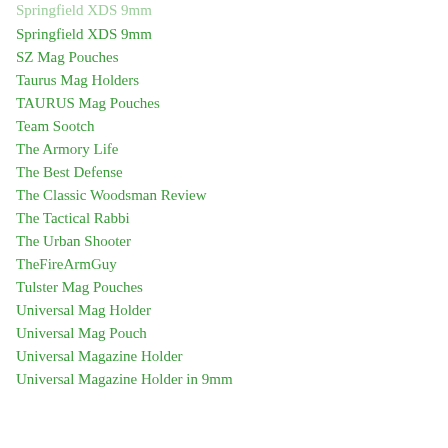Springfield XDS 9mm
SZ Mag Pouches
Taurus Mag Holders
TAURUS Mag Pouches
Team Sootch
The Armory Life
The Best Defense
The Classic Woodsman Review
The Tactical Rabbi
The Urban Shooter
TheFireArmGuy
Tulster Mag Pouches
Universal Mag Holder
Universal Mag Pouch
Universal Magazine Holder
Universal Magazine Holder in 9mm